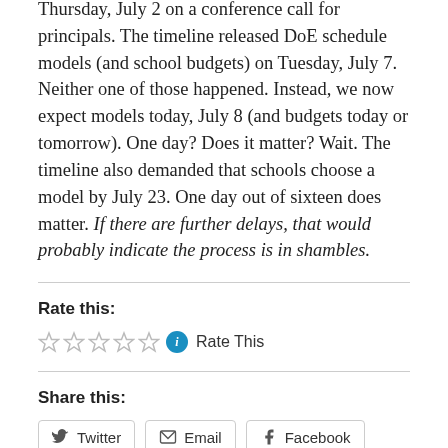Thursday, July 2 on a conference call for principals. The timeline released DoE schedule models (and school budgets) on Tuesday, July 7. Neither one of those happened. Instead, we now expect models today, July 8 (and budgets today or tomorrow). One day? Does it matter? Wait. The timeline also demanded that schools choose a model by July 23. One day out of sixteen does matter. If there are further delays, that would probably indicate the process is in shambles.
Rate this:
[Figure (other): Five empty star rating icons followed by a blue info icon and 'Rate This' text]
Share this:
Twitter  Email  Facebook